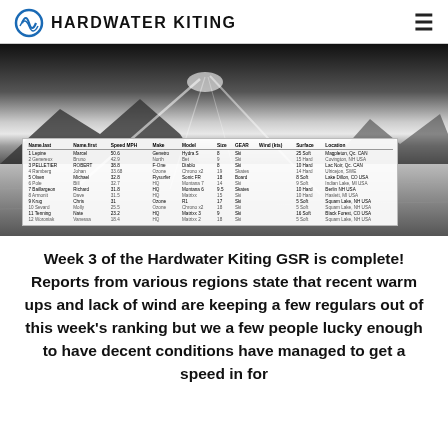HARDWATER KITING
[Figure (photo): Black and white photo of a frozen lake with kiting light streaks in the sky and mountains in the background, with a data table overlay showing kiting speed rankings]
| Name.last | Name.first | Speed MPH | Make | Model | Size | GEAR | Wind (kts) | Surface | Location |
| --- | --- | --- | --- | --- | --- | --- | --- | --- | --- |
| 1 Lepine | Marcel | 50.6 | Genetro | Hydra S | 8 | Ski |  | 25 Soft | Magpleton, Qc. CAN |
| 2 Genereux | Bruno | 42.9 | North | Bet | 9 | Ski |  | 15 Hard | Covington, NH USA |
| 3 PELLETIER | ROBERT | 38.8 | F-One | Diablo | 8 | Ski |  | 10 Hard | Lac Noir, Qc. CAN |
| 4 Ramberg | Johan | 33.68 | Ozone | Chrono x2 | 19 | Skates |  | 14 Hard | Ulricejon, SWE |
| 5 Olsen | Michael | 32.8 | Flysurfer | Sonic FR | 18 | Board |  | 8 Soft | Lake Dillon, CO USA |
| 6 Pole | Bill | 32.7 | HQ | Montana 7 | 14 | Ski |  | 9 Soft | Indian Lake, MI USA |
| 7 Baillargeon | Richard | 31.8 | HQ | Montana 6 | 9.5 | Skates |  | 10 Hard | Berlin NH USA |
| 8 Armonit | Dave | 31.5 | HQ | Matrixx | 15 | Ski |  | 10 Hard | Haslett, MI USA |
| 9 Krug | Chris | 31 | Ozone | R1 | 17 | Ski |  | 5 Soft | Squam Lake, NH USA |
| 10 Sevard | Molly | 25.5 | Ozone | Chrono x2 | 18 | Ski |  | 5 Soft | Squam Lake, NH USA |
| 11 Tenning | Nate | 23.2 | HQ | Matrixx 3 | 9 | Ski |  | 16 Soft | Black Forest, CO USA |
| 12 Woroniak | Vanessa | 18.4 | HQ | Matrixx 2 | 18 | Ski |  | 5 Soft | Squam Lake, NH USA |
Week 3 of the Hardwater Kiting GSR is complete!  Reports from various regions state that recent warm ups and lack of wind are keeping a few regulars out of this week's ranking but we a few people lucky enough to have decent conditions have managed to get a speed in for